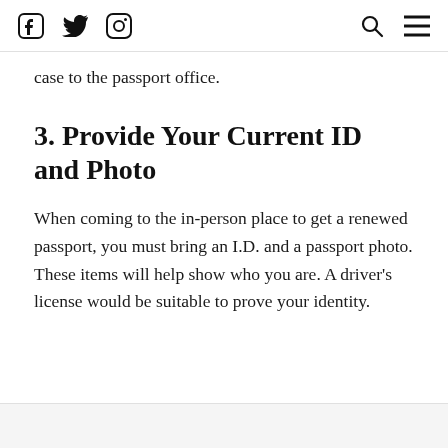[Facebook icon] [Twitter icon] [Instagram icon]   [Search icon] [Menu icon]
case to the passport office.
3. Provide Your Current ID and Photo
When coming to the in-person place to get a renewed passport, you must bring an I.D. and a passport photo. These items will help show who you are. A driver’s license would be suitable to prove your identity.